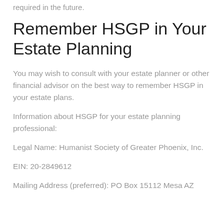required in the future.
Remember HSGP in Your Estate Planning
You may wish to consult with your estate planner or other financial advisor on the best way to remember HSGP in your estate plans.
Information about HSGP for your estate planning professional:
Legal Name: Humanist Society of Greater Phoenix, Inc.
EIN: 20-2849612
Mailing Address (preferred): PO Box 15112 Mesa AZ